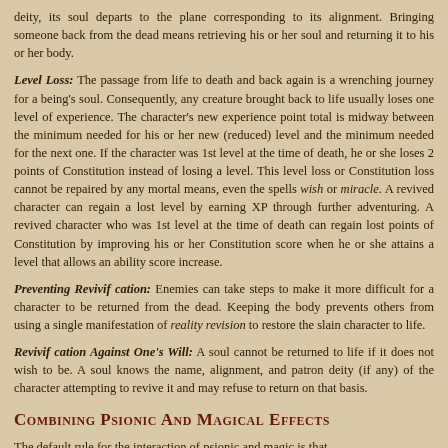deity, its soul departs to the plane corresponding to its alignment. Bringing someone back from the dead means retrieving his or her soul and returning it to his or her body.
Level Loss: The passage from life to death and back again is a wrenching journey for a being's soul. Consequently, any creature brought back to life usually loses one level of experience. The character's new experience point total is midway between the minimum needed for his or her new (reduced) level and the minimum needed for the next one. If the character was 1st level at the time of death, he or she loses 2 points of Constitution instead of losing a level. This level loss or Constitution loss cannot be repaired by any mortal means, even the spells wish or miracle. A revived character can regain a lost level by earning XP through further adventuring. A revived character who was 1st level at the time of death can regain lost points of Constitution by improving his or her Constitution score when he or she attains a level that allows an ability score increase.
Preventing Revivification: Enemies can take steps to make it more difficult for a character to be returned from the dead. Keeping the body prevents others from using a single manifestation of reality revision to restore the slain character to life.
Revivification Against One's Will: A soul cannot be returned to life if it does not wish to be. A soul knows the name, alignment, and patron deity (if any) of the character attempting to revive it and may refuse to return on that basis.
Combining Psionic And Magical Effects
The default rule for the interaction of psionic and magic is that...